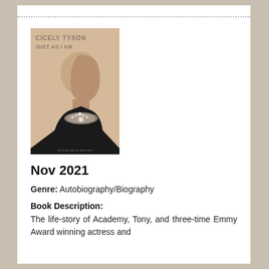[Figure (illustration): Book cover of 'Just As I Am' by Cicely Tyson. Tan/beige background with the author's name and title at the top. A black-and-white profile portrait of a woman with a shaved head wearing a decorative necklace. Small text at bottom reads 'WITH MICHELLE BURFORD'.]
Nov 2021
Genre: Autobiography/Biography
Book Description:
The life-story of Academy, Tony, and three-time Emmy Award winning actress and